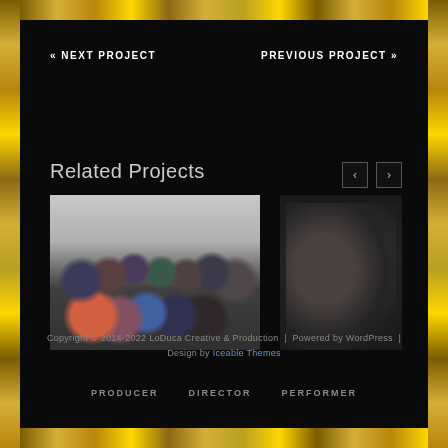« NEXT PROJECT    PREVIOUS PROJECT »
Related Projects
[Figure (photo): Group photo of approximately 15-17 people standing together in two rows]
[Figure (photo): Photo of two people, a man and a woman, standing together]
Copyright © 2014-2022 LoDuca Creative & Production | Powered by WordPress | Design by Iceable Themes
PRODUCER  DIRECTOR  PERFORMER